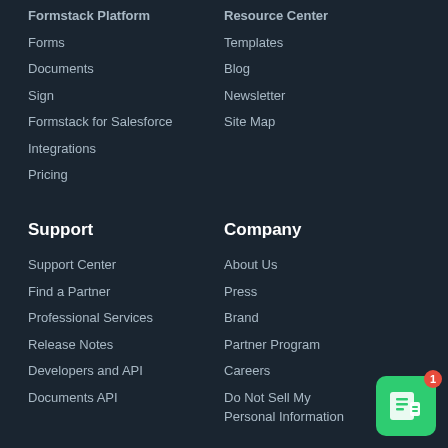Formstack Platform
Resource Center
Forms
Templates
Documents
Blog
Sign
Newsletter
Formstack for Salesforce
Site Map
Integrations
Pricing
Support
Company
Support Center
About Us
Find a Partner
Press
Professional Services
Brand
Release Notes
Partner Program
Developers and API
Careers
Documents API
Do Not Sell My Personal Information
[Figure (logo): Formstack app icon badge with notification count 1]